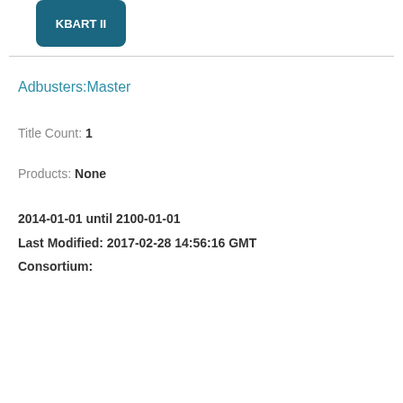[Figure (other): Dark teal button labeled KBART II at top of page]
Adbusters:Master
Title Count: 1
Products: None
2014-01-01 until 2100-01-01
Last Modified: 2017-02-28 14:56:16 GMT
Consortium:
[Figure (other): Three dark teal buttons: JSON, XML Export, KBPlus(CSV), and a fourth KBART II button below]